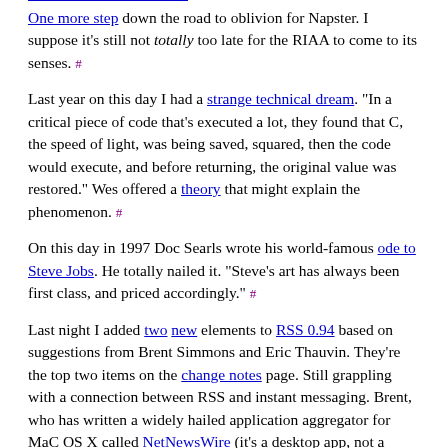One more step down the road to oblivion for Napster. I suppose it's still not totally too late for the RIAA to come to its senses. #
Last year on this day I had a strange technical dream. "In a critical piece of code that's executed a lot, they found that C, the speed of light, was being saved, squared, then the code would execute, and before returning, the original value was restored." Wes offered a theory that might explain the phenomenon. #
On this day in 1997 Doc Searls wrote his world-famous ode to Steve Jobs. He totally nailed it. "Steve's art has always been first class, and priced accordingly." #
Last night I added two new elements to RSS 0.94 based on suggestions from Brent Simmons and Eric Thauvin. They're the top two items on the change notes page. Still grappling with a connection between RSS and instant messaging. Brent, who has written a widely hailed application aggregator for MaC OS X called NetNewsWire (it's a desktop app, not a browser app), suggested it, passing on a feature request from users of NNW. They want to right-click on a feed to chat with the